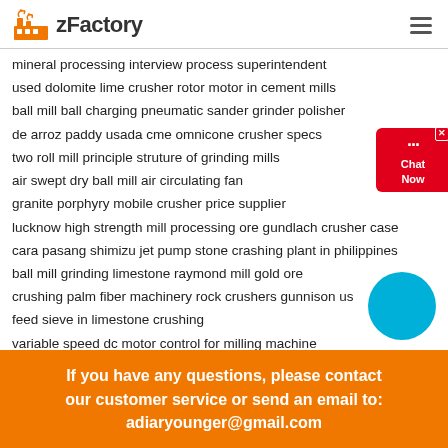zFactory
mineral processing interview process superintendent
used dolomite lime crusher rotor motor in cement mills
ball mill ball charging pneumatic sander grinder polisher
de arroz paddy usada cme omnicone crusher specs
two roll mill principle struture of grinding mills
air swept dry ball mill air circulating fan
granite porphyry mobile crusher price supplier
lucknow high strength mill processing ore gundlach crusher case
cara pasang shimizu jet pump stone crashing plant in philippines
ball mill grinding limestone raymond mill gold ore
crushing palm fiber machinery rock crushers gunnison us
feed sieve in limestone crushing
variable speed dc motor control for milling machine
If you have any questions, please contact our customer service or send an email to: adiaryounger@gmail.com